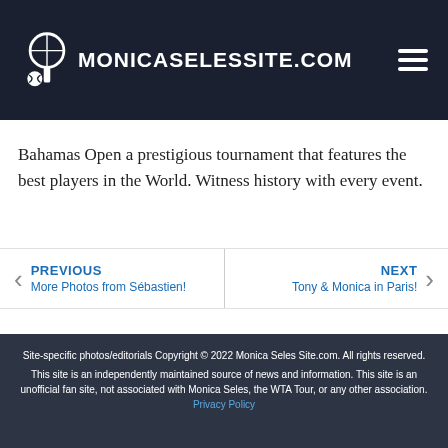MONICASELESSITE.COM
Bahamas Open a prestigious tournament that features the best players in the World. Witness history with every event.
PREVIOUS – More Photos from Sébastien!
NEXT – Tony & Monica in Paris!
Site-specific photos/editorials Copyright © 2022 Monica Seles Site.com. All rights reserved. This site is an independently maintained source of news and information. This site is an unofficial fan site, not associated with Monica Seles, the WTA Tour, or any other association. Privacy Policy